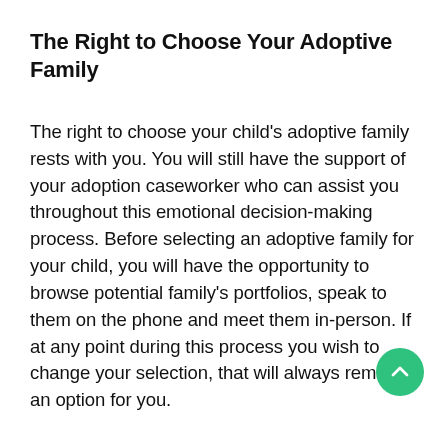The Right to Choose Your Adoptive Family
The right to choose your child’s adoptive family rests with you. You will still have the support of your adoption caseworker who can assist you throughout this emotional decision-making process. Before selecting an adoptive family for your child, you will have the opportunity to browse potential family’s portfolios, speak to them on the phone and meet them in-person. If at any point during this process you wish to change your selection, that will always remain an option for you.
The Right to an Attorney and Covered Legal Fees
In order to make an adoption final, a judge will need your consent to end your legal parental rights to your child. At this point, your adoptive family will